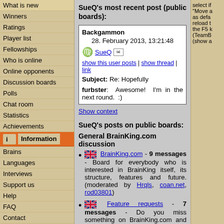What is new
Winners
Ratings
Player list
Fellowships
Who is online
Online opponents
Discussion boards
Polls
Chat room
Statistics
Achievements
Information
Brains
Languages
Interviews
Support us
Help
FAQ
Contact
Links
Logout
SueQ's most recent post (public boards):
| Backgammon | 28. February 2013, 13:21:48 | SueQ | show this user posts | show thread | link | Subject: Re: Hopefully | furbster: Awesome! I'm in the next round. :) |
Show context
SueQ's posts on public boards:
General BrainKing.com discussion
BrainKing.com - 9 messages - Board for everybody who is interested in BrainKing itself, its structure, features and future. (moderated by Hrqls, coan.net, rod03801)
Feature requests - 7 messages - Do you miss something on BrainKing.com and would you like to see it here? Post your request into this board!